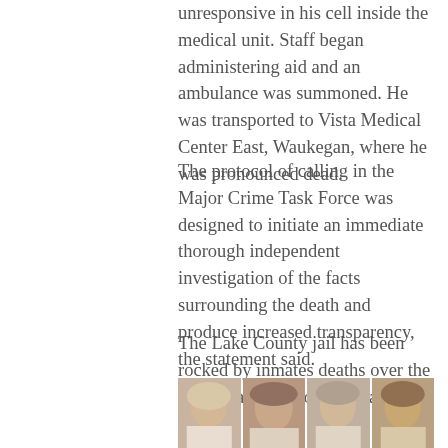unresponsive in his cell inside the medical unit. Staff began administering aid and an ambulance was summoned. He was transported to Vista Medical Center East, Waukegan, where he was pronounced dead.
The protocol of calling in the Major Crime Task Force was designed to initiate an immediate thorough independent investigation of the facts surrounding the death and produce increased transparency, the statement said.
The Lake County jail has been rocked by inmates deaths over the years that also prompted lawsuits.
[Figure (photo): A row of four mugshot-style photos showing four individuals facing the camera against a plain background. The bottom portion of the image is partially cut off.]